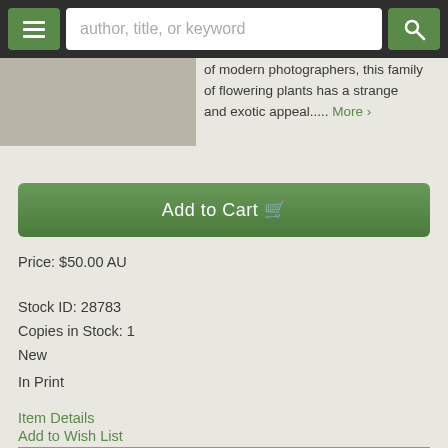author, title, or keyword
of modern photographers, this family of flowering plants has a strange and exotic appeal..... More ›
Add to Cart
Price: $50.00 AU
Stock ID: 28783
Copies in Stock: 1
New
In Print
Item Details
Add to Wish List
Ask a Question